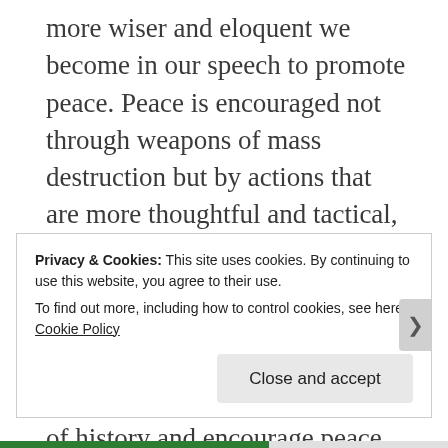more wiser and eloquent we become in our speech to promote peace. Peace is encouraged not through weapons of mass destruction but by actions that are more thoughtful and tactical, our tactics play a vital role in negotiating peace, how do we write a good script to portray peace? human kind our thoughts, our speech can change the course of history and encourage peace not war, we are peace our speech on this table, on that meeting, our speech should utter nothing but peaceful solutions.
Privacy & Cookies: This site uses cookies. By continuing to use this website, you agree to their use. To find out more, including how to control cookies, see here: Cookie Policy
Close and accept